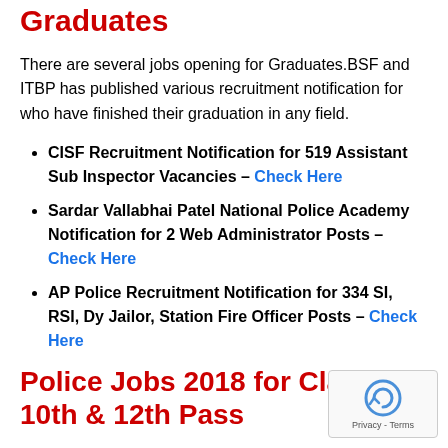Graduates
There are several jobs opening for Graduates.BSF and ITBP has published various recruitment notification for who have finished their graduation in any field.
CISF Recruitment Notification for 519 Assistant Sub Inspector Vacancies – Check Here
Sardar Vallabhai Patel National Police Academy Notification for 2 Web Administrator Posts – Check Here
AP Police Recruitment Notification for 334 SI, RSI, Dy Jailor, Station Fire Officer Posts – Check Here
Police Jobs 2018 for Class 10th & 12th Pass
There are several jobs opening for Class 10th and 12th Pass Students. State-wise Police Jobs is listed below for the stud…